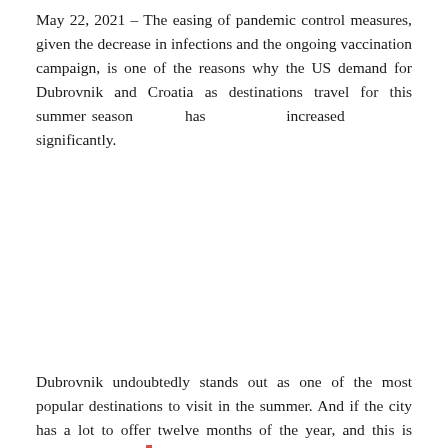May 22, 2021 – The easing of pandemic control measures, given the decrease in infections and the ongoing vaccination campaign, is one of the reasons why the US demand for Dubrovnik and Croatia as destinations travel for this summer season has increased significantly.
Dubrovnik undoubtedly stands out as one of the most popular destinations to visit in the summer. And if the city has a lot to offer twelve months of the year, and this is something that has